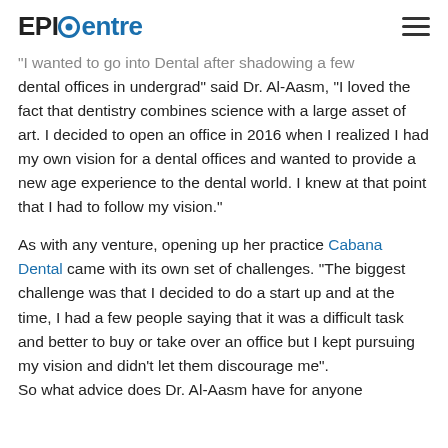EPICentre
“I wanted to go into Dental after shadowing a few dental offices in undergrad” said Dr. Al-Aasm, “I loved the fact that dentistry combines science with a large asset of art. I decided to open an office in 2016 when I realized I had my own vision for a dental offices and wanted to provide a new age experience to the dental world. I knew at that point that I had to follow my vision.”
As with any venture, opening up her practice Cabana Dental came with its own set of challenges. “The biggest challenge was that I decided to do a start up and at the time, I had a few people saying that it was a difficult task and better to buy or take over an office but I kept pursuing my vision and didn’t let them discourage me”.
So what advice does Dr. Al-Aasm have for anyone